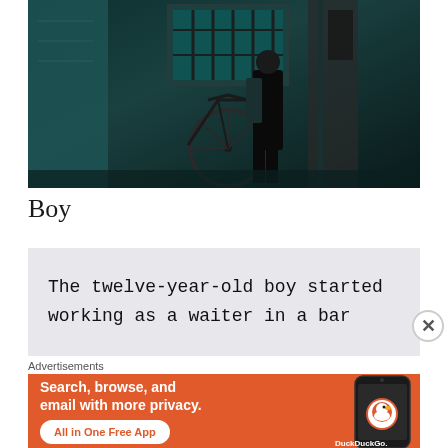[Figure (photo): Dark moody street scene photo showing a person with a backpack standing near a bicycle and metal-barred windows/door. Teal and dark tones.]
Boy
The twelve-year-old boy started working as a waiter in a bar
Advertisements
[Figure (infographic): DuckDuckGo advertisement banner with orange background. Text reads: Search, browse, and email with more privacy. All in One Free App. Shows a smartphone with DuckDuckGo logo.]